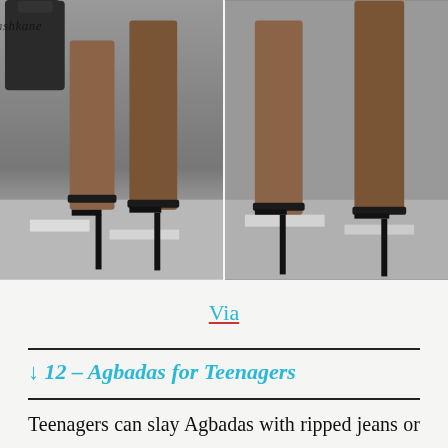[Figure (photo): Two side-by-side photos showing women's legs wearing black high heel sandals on pavement. A black handbag is visible top left. Watermark text 'karenkashkane' appears across both photos.]
Via
↓ 12 – Agbadas for Teenagers
Teenagers can slay Agbadas with ripped jeans or leggings. They can wear these fabulous garment pieces with sneakers and braid hairstyles. It looks traditional with...